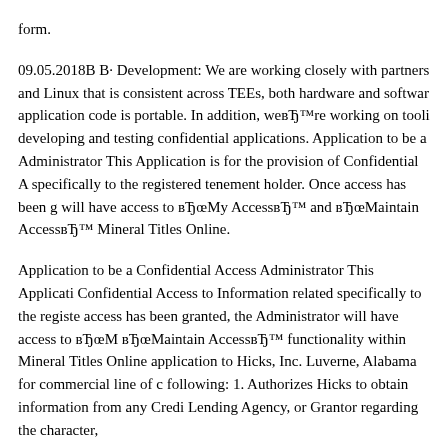form.
09.05.2018В В· Development: We are working closely with partners and Linux that is consistent across TEEs, both hardware and software application code is portable. In addition, weвЂ™re working on tooling developing and testing confidential applications. Application to be a Administrator This Application is for the provision of Confidential Access specifically to the registered tenement holder. Once access has been granted, will have access to вЂœMy AccessвЂ™ and вЂœMaintain AccessвЂ™ Mineral Titles Online.
Application to be a Confidential Access Administrator This Application Confidential Access to Information related specifically to the registered access has been granted, the Administrator will have access to вЂœM вЂœMaintain AccessвЂ™ functionality within Mineral Titles Online application to Hicks, Inc. Luverne, Alabama for commercial line of credit following: 1. Authorizes Hicks to obtain information from any Credit Lending Agency, or Grantor regarding the character,
Confidential Access application to be a Confidential Access Administrator for a